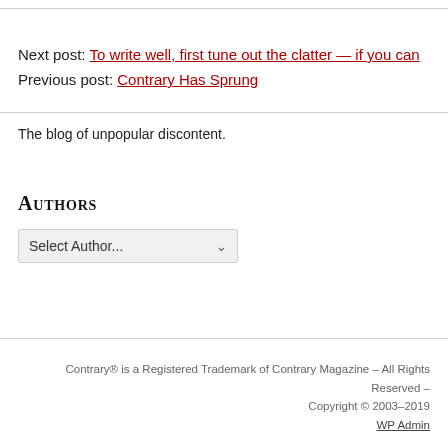Next post: To write well, first tune out the clatter — if you can
Previous post: Contrary Has Sprung
The blog of unpopular discontent.
Authors
Select Author...
Contrary® is a Registered Trademark of Contrary Magazine – All Rights Reserved – Copyright © 2003–2019
WP Admin